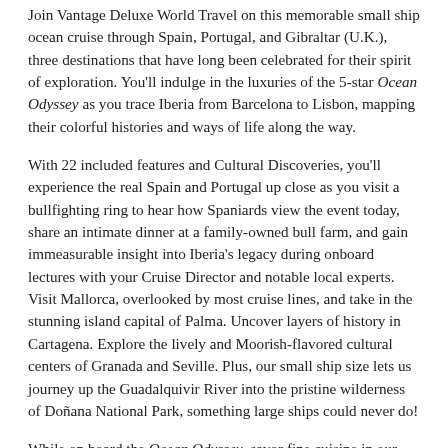Join Vantage Deluxe World Travel on this memorable small ship ocean cruise through Spain, Portugal, and Gibraltar (U.K.), three destinations that have long been celebrated for their spirit of exploration. You'll indulge in the luxuries of the 5-star Ocean Odyssey as you trace Iberia from Barcelona to Lisbon, mapping their colorful histories and ways of life along the way.
With 22 included features and Cultural Discoveries, you'll experience the real Spain and Portugal up close as you visit a bullfighting ring to hear how Spaniards view the event today, share an intimate dinner at a family-owned bull farm, and gain immeasurable insight into Iberia's legacy during onboard lectures with your Cruise Director and notable local experts. Visit Mallorca, overlooked by most cruise lines, and take in the stunning island capital of Palma. Uncover layers of history in Cartagena. Explore the lively and Moorish-flavored cultural centers of Granada and Seville. Plus, our small ship size lets us journey up the Guadalquivir River into the pristine wilderness of Doñana National Park, something large ships could never do!
While on board the Ocean Odyssey, savor fine cuisine in our elegant restaurant or sip a glass of wine on the sundeck while cruising up the scenic Guadalquivir. Enjoy luxury amenities —